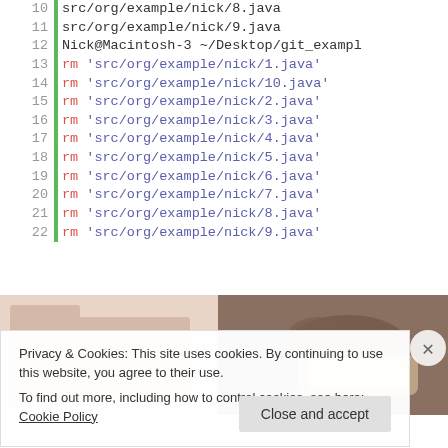Code listing showing git rm commands for java files, lines 10-22
[Figure (screenshot): Partial photo of person holding a phone, with a folder icon on the left]
Privacy & Cookies: This site uses cookies. By continuing to use this website, you agree to their use. To find out more, including how to control cookies, see here: Cookie Policy
Close and accept